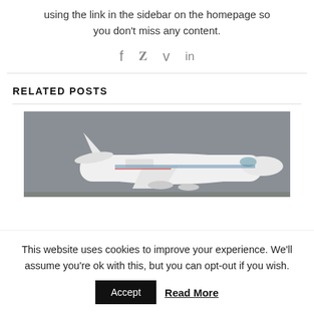using the link in the sidebar on the homepage so you don't miss any content.
[Figure (infographic): Social media share icons: Facebook (f), Twitter (bird), Vimeo (v), LinkedIn (in)]
RELATED POSTS
[Figure (photo): A white aircraft (appears to be a NASA research plane) flying against a grey sky]
This website uses cookies to improve your experience. We'll assume you're ok with this, but you can opt-out if you wish.
Accept   Read More